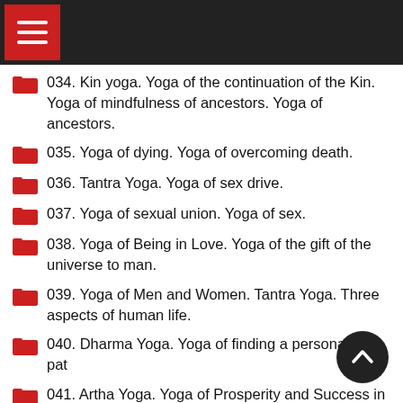Navigation menu
034. Kin yoga. Yoga of the continuation of the Kin. Yoga of mindfulness of ancestors. Yoga of ancestors.
035. Yoga of dying. Yoga of overcoming death.
036. Tantra Yoga. Yoga of sex drive.
037. Yoga of sexual union. Yoga of sex.
038. Yoga of Being in Love. Yoga of the gift of the universe to man.
039. Yoga of Men and Women. Tantra Yoga. Three aspects of human life.
040. Dharma Yoga. Yoga of finding a personal life path
041. Artha Yoga. Yoga of Prosperity and Success in Business. Yoga of prosperity and wealth.
042. Yoga Sutra of Patanjali. Classical yoga 2nd